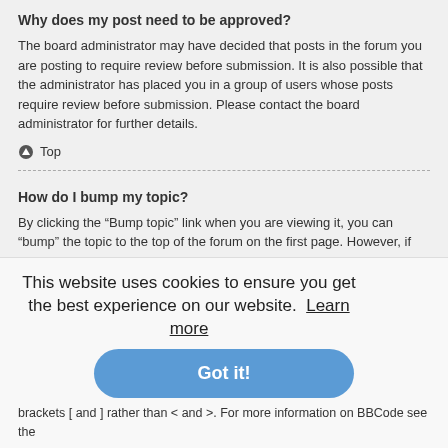Why does my post need to be approved?
The board administrator may have decided that posts in the forum you are posting to require review before submission. It is also possible that the administrator has placed you in a group of users whose posts require review before submission. Please contact the board administrator for further details.
⬤ Top
How do I bump my topic?
By clicking the “Bump topic” link when you are viewing it, you can “bump” the topic to the top of the forum on the first page. However, if you do not see this, then topic bumping may be disabled or the time allowance between bumps has not yet been reached. It is also possible to bump the topic simply by replying to it, however, be sure to follow the board rules when doing so.
⬤ Top
This website uses cookies to ensure you get the best experience on our website. Learn more
Got it!
control
posting
n square
brackets [ and ] rather than < and >. For more information on BBCode see the guide which can be accessed from the posting page.